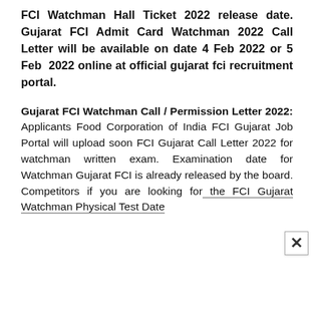FCI Watchman Hall Ticket 2022 release date. Gujarat FCI Admit Card Watchman 2022 Call Letter will be available on date 4 Feb 2022 or 5 Feb 2022 online at official gujarat fci recruitment portal.
Gujarat FCI Watchman Call / Permission Letter 2022: Applicants Food Corporation of India FCI Gujarat Job Portal will upload soon FCI Gujarat Call Letter 2022 for watchman written exam. Examination date for Watchman Gujarat FCI is already released by the board. Competitors if you are looking for the FCI Gujarat Watchman Physical Test Date